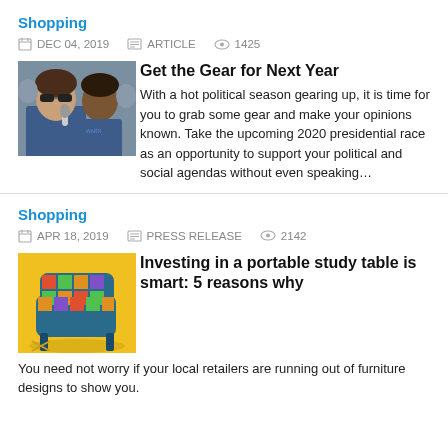Shopping
DEC 04, 2019   ARTICLE   1425
[Figure (photo): Two women at a political rally, one speaking into a microphone wearing sunglasses]
Get the Gear for Next Year
With a hot political season gearing up, it is time for you to grab some gear and make your opinions known. Take the upcoming 2020 presidential race as an opportunity to support your political and social agendas without even speaking…
Shopping
APR 18, 2019   PRESS RELEASE   2142
[Figure (photo): Colorful patterned armchair on yellow background]
Investing in a portable study table is smart: 5 reasons why
You need not worry if your local retailers are running out of furniture designs to show you.